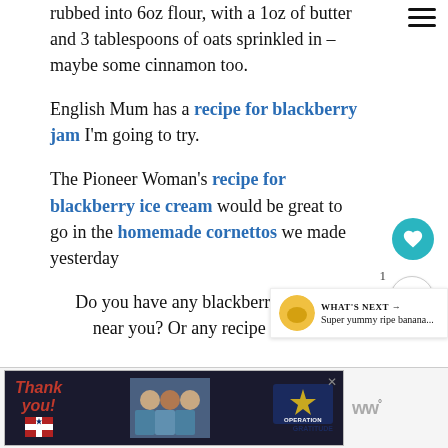rubbed into 6oz flour, with a 1oz of butter and 3 tablespoons of oats sprinkled in – maybe some cinnamon too.
English Mum has a recipe for blackberry jam I'm going to try.
The Pioneer Woman's recipe for blackberry ice cream would be great to go in the homemade cornettos we made yesterday
Do you have any blackberries growing near you? Or any recipe ideas to s
[Figure (screenshot): Thank You Operation Gratitude advertisement banner at the bottom of the page]